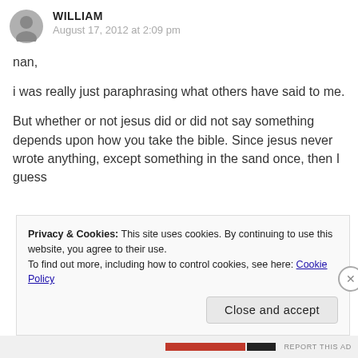WILLIAM
August 17, 2012 at 2:09 pm
nan,
i was really just paraphrasing what others have said to me.
But whether or not jesus did or did not say something depends upon how you take the bible. Since jesus never wrote anything, except something in the sand once, then I guess
Privacy & Cookies: This site uses cookies. By continuing to use this website, you agree to their use.
To find out more, including how to control cookies, see here: Cookie Policy
REPORT THIS AD